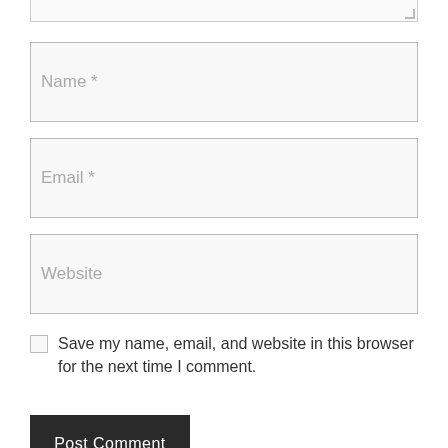[Figure (screenshot): Partial textarea (top edge cut off) showing bottom border with resize handle]
Name *
Email *
Website
Save my name, email, and website in this browser for the next time I comment.
Post Comment